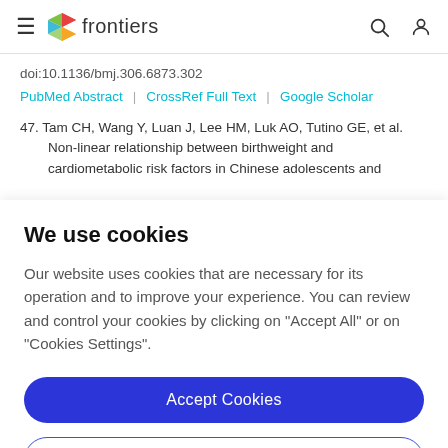frontiers (logo/navigation header)
doi:10.1136/bmj.306.6873.302
PubMed Abstract | CrossRef Full Text | Google Scholar
47. Tam CH, Wang Y, Luan J, Lee HM, Luk AO, Tutino GE, et al. Non-linear relationship between birthweight and cardiometabolic risk factors in Chinese adolescents and
We use cookies
Our website uses cookies that are necessary for its operation and to improve your experience. You can review and control your cookies by clicking on "Accept All" or on "Cookies Settings".
Accept Cookies
Cookies Settings